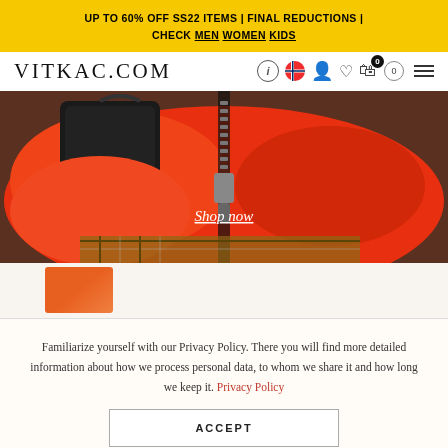UP TO 60% OFF SS22 ITEMS | FINAL REDUCTIONS | CHECK MEN WOMEN KIDS
VITKAC.COM
[Figure (photo): Close-up photo of a person wearing a bright orange/red jacket with a zipper, with a black bag visible. Overlay text reads 'Shop now'.]
[Figure (photo): Partial view of orange jacket thumbnail below main hero image.]
Familiarize yourself with our Privacy Policy. There you will find more detailed information about how we process personal data, to whom we share it and how long we keep it. Privacy Policy
ACCEPT